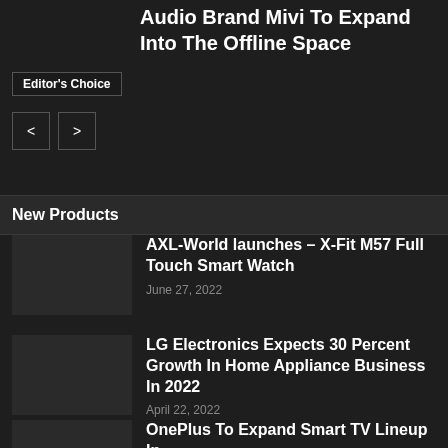Audio Brand Mivi To Expand Into The Offline Space
Editor's Choice
New Products
AXL-World launches – X-Fit M57 Full Touch Smart Watch
June 27, 2022
LG Electronics Expects 30 Percent Growth In Home Appliance Business In 2022
April 22, 2022
OnePlus To Expand Smart TV Lineup In